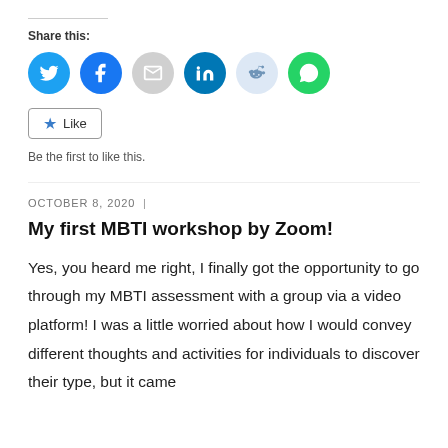Share this:
[Figure (infographic): Row of six social media share icon buttons: Twitter (blue), Facebook (blue), Email (grey), LinkedIn (dark blue), Reddit (light blue), WhatsApp (green)]
★ Like
Be the first to like this.
OCTOBER 8, 2020  |
My first MBTI workshop by Zoom!
Yes, you heard me right, I finally got the opportunity to go through my MBTI assessment with a group via a video platform! I was a little worried about how I would convey different thoughts and activities for individuals to discover their type, but it came